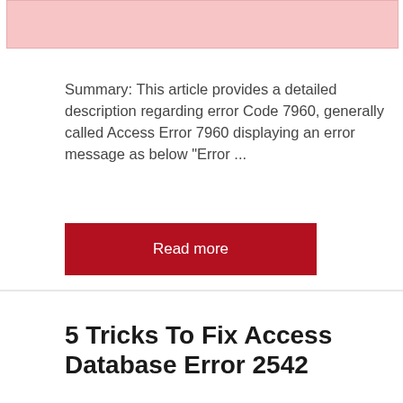[Figure (photo): Partial pink-toned image at the top of the article card]
Summary: This article provides a detailed description regarding error Code 7960, generally called Access Error 7960 displaying an error message as below “Error …
Read more
5 Tricks To Fix Access Database Error 2542